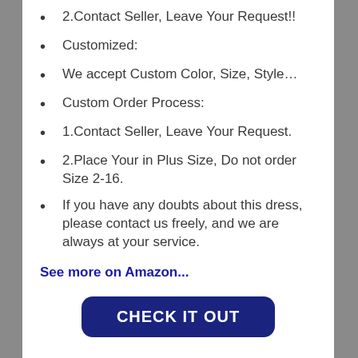2.Contact Seller, Leave Your Request!!
Customized:
We accept Custom Color, Size, Style…
Custom Order Process:
1.Contact Seller, Leave Your Request.
2.Place Your in Plus Size, Do not order Size 2-16.
If you have any doubts about this dress, please contact us freely, and we are always at your service.
See more on Amazon...
CHECK IT OUT